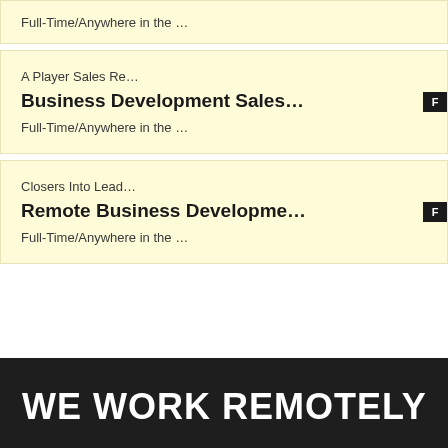Full-Time/Anywhere in the ...
A Player Sales Re...
Business Development Sales...
Full-Time/Anywhere in the ...
Closers Into Lead...
Remote Business Developme...
Full-Time/Anywhere in the ...
WE WORK REMOTELY